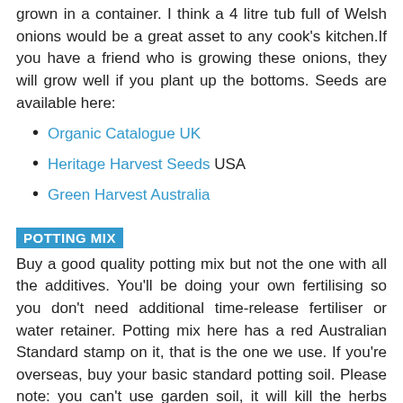grown in a container. I think a 4 litre tub full of Welsh onions would be a great asset to any cook's kitchen. If you have a friend who is growing these onions, they will grow well if you plant up the bottoms. Seeds are available here:
Organic Catalogue UK
Heritage Harvest Seeds USA
Green Harvest Australia
POTTING MIX
Buy a good quality potting mix but not the one with all the additives. You'll be doing your own fertilising so you don't need additional time-release fertiliser or water retainer. Potting mix here has a red Australian Standard stamp on it, that is the one we use. If you're overseas, buy your basic standard potting soil. Please note: you can't use garden soil, it will kill the herbs because it won't drain effectively in a pot. Remember to re-pot your herbs every two years.
WATERING
The sunnier the position, the more water the herb will probably need. Pots need more water than your in-ground